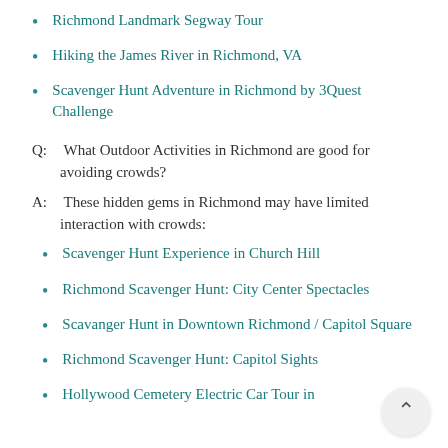Richmond Landmark Segway Tour
Hiking the James River in Richmond, VA
Scavenger Hunt Adventure in Richmond by 3Quest Challenge
Q:  What Outdoor Activities in Richmond are good for avoiding crowds?
A:  These hidden gems in Richmond may have limited interaction with crowds:
Scavenger Hunt Experience in Church Hill
Richmond Scavenger Hunt: City Center Spectacles
Scavanger Hunt in Downtown Richmond / Capitol Square
Richmond Scavenger Hunt: Capitol Sights
Hollywood Cemetery Electric Car Tour in